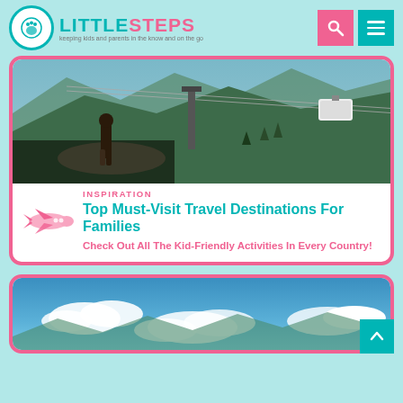[Figure (logo): LittleSteps logo with footprint icon, teal and pink wordmark, tagline: keeping kids and parents in the know and on the go]
[Figure (photo): Child standing on a rock looking at mountains and cable cars]
INSPIRATION
Top Must-Visit Travel Destinations For Families
Check Out All The Kid-Friendly Activities In Every Country!
[Figure (photo): Blue sky with white clouds, mountains in the background]